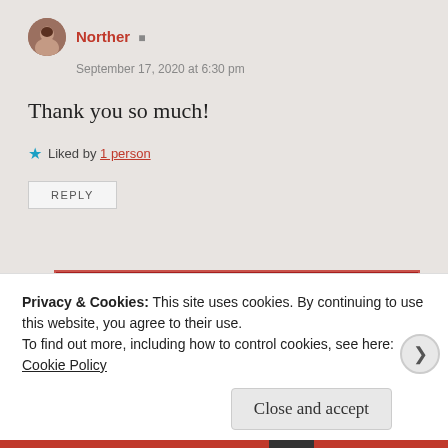[Figure (photo): User avatar photo of a woman with brown hair, circular crop]
Norther
September 17, 2020 at 6:30 pm
Thank you so much!
Liked by 1 person
REPLY
[Figure (screenshot): Red advertisement banner reading: The best stories on the web – ours, and everyone else's.]
REPORT THIS AD
Privacy & Cookies: This site uses cookies. By continuing to use this website, you agree to their use.
To find out more, including how to control cookies, see here:
Cookie Policy
Close and accept